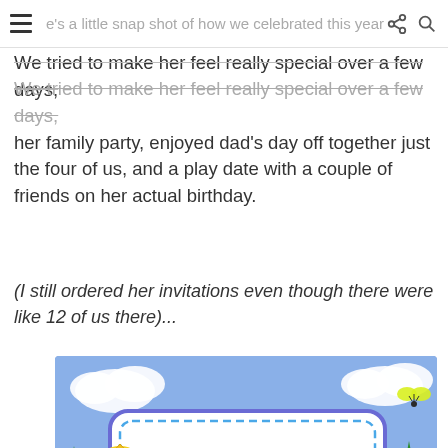e's a little snap shot of how we celebrated this year
We tried to make her feel really special over a few days, her family party, enjoyed dad's day off together just the four of us, and a play date with a couple of friends on her actual birthday.
(I still ordered her invitations even though there were like 12 of us there)...
[Figure (photo): A birthday party invitation for Maddison turning 3, themed with Ben & Holly's Little Kingdom characters. Text reads: 'Maddison is turning 3', 'Saturday, November 21st', '2:00pm - 5:00pm', '123 Fake Street'. Features cartoon characters on a purple/blue background.]